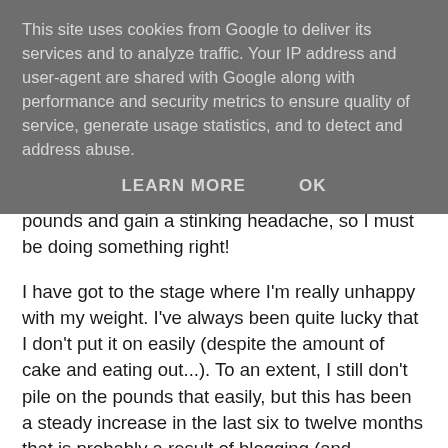This site uses cookies from Google to deliver its services and to analyze traffic. Your IP address and user-agent are shared with Google along with performance and security metrics to ensure quality of service, generate usage statistics, and to detect and address abuse.
LEARN MORE    OK
pounds and gain a stinking headache, so I must be doing something right!
I have got to the stage where I'm really unhappy with my weight. I've always been quite lucky that I don't put it on easily (despite the amount of cake and eating out...). To an extent, I still don't pile on the pounds that easily, but this has been a steady increase in the last six to twelve months that is probably a result of blogging (and therefore testing), my age and pure greed. A lot of hard work went into piling on the pounds!
My 'tricky time' is mid afternoon if something stressful has happened and last thing in the evening whilst watching TV.